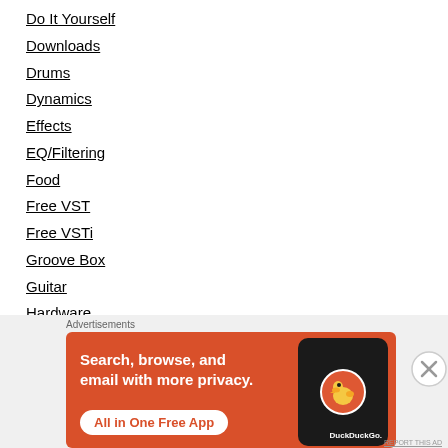Do It Yourself
Downloads
Drums
Dynamics
Effects
EQ/Filtering
Food
Free VST
Free VSTi
Groove Box
Guitar
Hardware
Life
[Figure (infographic): DuckDuckGo advertisement banner with orange background. Text reads 'Search, browse, and email with more privacy. All in One Free App' with a phone showing the DuckDuckGo logo.]
Advertisements